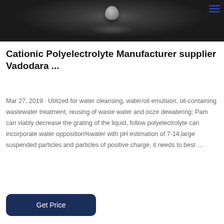[Figure (photo): Close-up photo of a liquid droplet on a dark surface, showing light reflection, with a hamburger menu icon in top right corner]
Cationic Polyelectrolyte Manufacturer supplier Vadodara ...
Mar 27, 2019 · Utilized for water cleansing, water/oil emulsion, oil-containing wastewater treatment, reusing of waste water and ooze dewatering; Pam can viably decrease the grating of the liquid, follow polyelectrolyte can incorporate water opposition%water with pH estimation of 7-14,large suspended particles and particles of positive charge, it needs to best …
Get Price